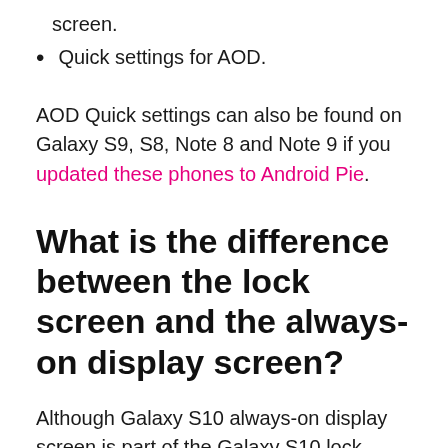screen.
Quick settings for AOD.
AOD Quick settings can also be found on Galaxy S9, S8, Note 8 and Note 9 if you updated these phones to Android Pie.
What is the difference between the lock screen and the always-on display screen?
Although Galaxy S10 always-on display screen is part of the Galaxy S10 lock screen